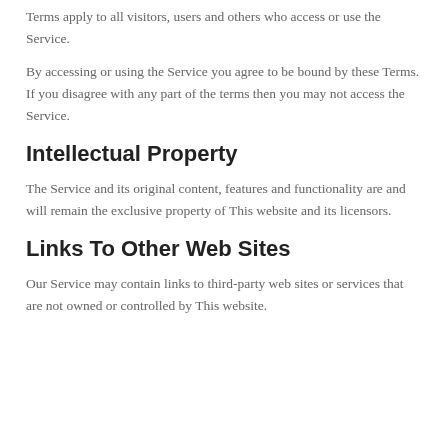Terms apply to all visitors, users and others who access or use the Service.
By accessing or using the Service you agree to be bound by these Terms. If you disagree with any part of the terms then you may not access the Service.
Intellectual Property
The Service and its original content, features and functionality are and will remain the exclusive property of This website and its licensors.
Links To Other Web Sites
Our Service may contain links to third-party web sites or services that are not owned or controlled by This website.